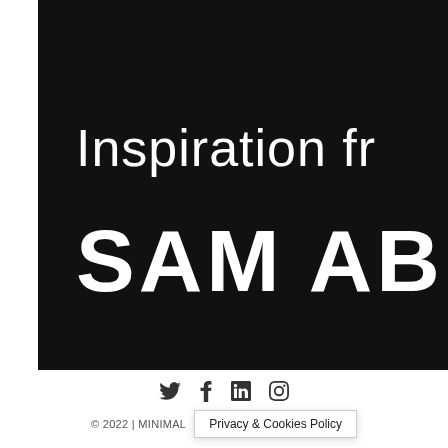[Figure (screenshot): Dark background hero section of a website showing large white text 'Inspiration fr' (cropped) and 'SAM ABE' (cropped) on a near-black background]
© 2022 | MINIMAL    Privacy & Cookies Policy
Twitter, Facebook, LinkedIn, Instagram social icons